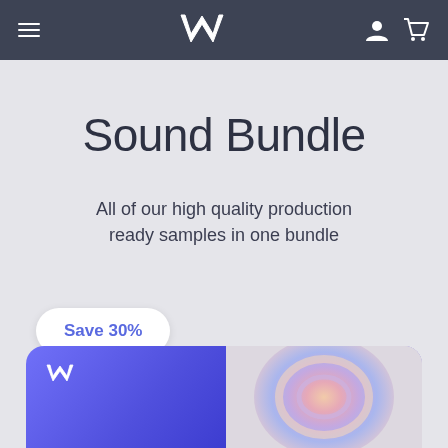Navigation bar with hamburger menu, logo, user icon, and cart icon
Sound Bundle
All of our high quality production ready samples in one bundle
Save 30%
[Figure (screenshot): Bottom card with purple/blue gradient background, small white logo icon on left, and a circular abstract colorful image panel on the right]